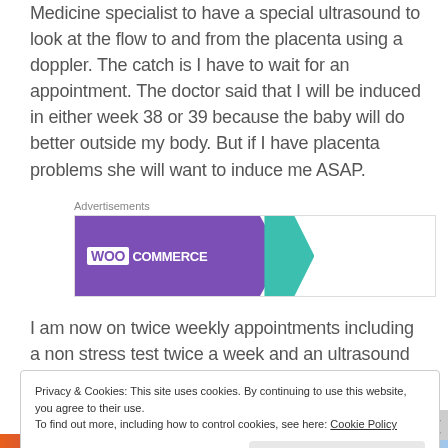Medicine specialist to have a special ultrasound to look at the flow to and from the placenta using a doppler. The catch is I have to wait for an appointment. The doctor said that I will be induced in either week 38 or 39 because the baby will do better outside my body. But if I have placenta problems she will want to induce me ASAP.
Advertisements
[Figure (illustration): WooCommerce advertisement banner: purple background on left with WooCommerce logo and teal arrow shape, right side white with text 'How to start selling subscriptions online' and orange/teal decorative shapes]
I am now on twice weekly appointments including a non stress test twice a week and an ultrasound to keep an eye
Privacy & Cookies: This site uses cookies. By continuing to use this website, you agree to their use.
To find out more, including how to control cookies, see here: Cookie Policy

Close and accept